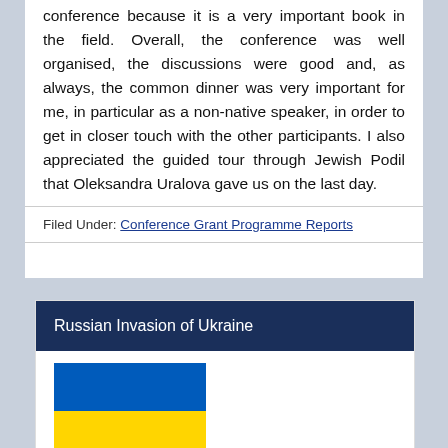conference because it is a very important book in the field. Overall, the conference was well organised, the discussions were good and, as always, the common dinner was very important for me, in particular as a non-native speaker, in order to get in closer touch with the other participants. I also appreciated the guided tour through Jewish Podil that Oleksandra Uralova gave us on the last day.
Filed Under: Conference Grant Programme Reports
Russian Invasion of Ukraine
[Figure (illustration): Ukrainian flag (blue and yellow horizontal stripes)]